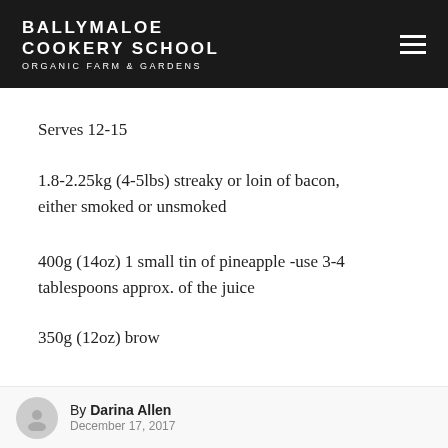BALLYMALOE COOKERY SCHOOL ORGANIC FARM & GARDENS
Serves 12-15
1.8-2.25kg (4-5lbs) streaky or loin of bacon, either smoked or unsmoked
400g (14oz) 1 small tin of pineapple -use 3-4 tablespoons approx. of the juice
350g (12oz) brow... [cut off]
By Darina Allen December 17, 2017